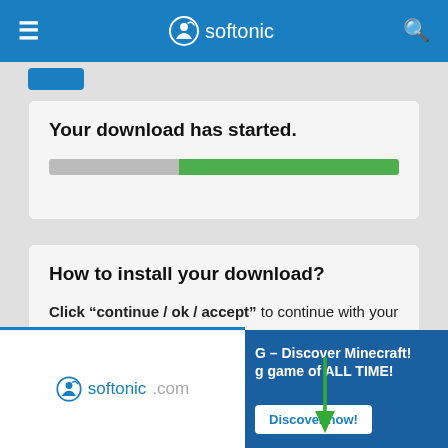[Figure (screenshot): Softonic website header with hamburger menu, Softonic logo, and search icon on blue background]
Your download has started.
[Figure (infographic): Download progress bar, partially filled in green]
How to install your download?
Click “continue / ok / accept” to continue with your free and secure download.
[Figure (screenshot): Browser warning popup: This type of file can harm your device. Do you want to keep hd-streamio-3-1.apk anyway? with green arrow pointing down]
[Figure (logo): Softonic.com logo]
G - Discover Minecraft!
g game of ALL TIME!
Discover now!